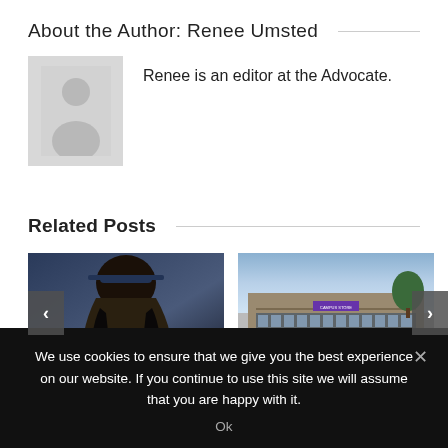About the Author: Renee Umsted
[Figure (photo): Default user avatar silhouette in gray box]
Renee is an editor at the Advocate.
Related Posts
[Figure (photo): Person with dark hair wearing a blue hat and jacket, seen from behind]
[Figure (photo): Exterior of a building with large windows and a purple sign]
We use cookies to ensure that we give you the best experience on our website. If you continue to use this site we will assume that you are happy with it.
Ok